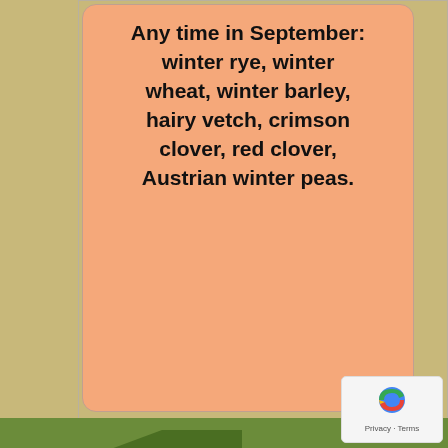[Figure (infographic): Infographic showing winter cover crop timing options. Left salmon-colored card lists crops for 'Any time in September': winter rye, winter wheat, winter barley, hairy vetch, crimson clover, red clover, Austrian winter peas. Right card (partially visible) shows options after 10/ with wheat or Austrian winter peas. A green left-pointing arrow banner reads 'Only include legumes if there will b[e...]']
Quick Guide to Winter Cover Crops.
Pam Dawling
More Options for Each of These Time-frames